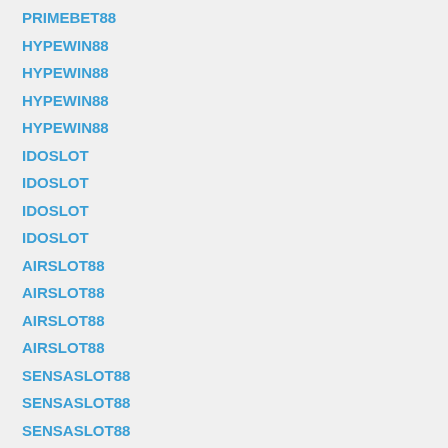PRIMEBET88
HYPEWIN88
HYPEWIN88
HYPEWIN88
HYPEWIN88
IDOSLOT
IDOSLOT
IDOSLOT
IDOSLOT
AIRSLOT88
AIRSLOT88
AIRSLOT88
AIRSLOT88
SENSASLOT88
SENSASLOT88
SENSASLOT88
SENSASLOT88